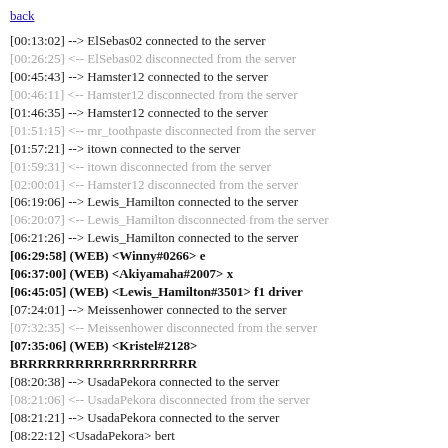back
[00:13:02] --> ElSebas02 connected to the server
[00:26:25] <-- ElSebas02 disconnected from the server
[00:45:43] --> Hamster12 connected to the server
[00:46:11] <-- Hamster12 disconnected from the server
[01:46:35] --> Hamster12 connected to the server
[01:51:15] <-- mr_toothpaste disconnected from the server
[01:57:21] --> itown connected to the server
[01:59:31] <-- itown disconnected from the server
[02:00:01] <-- Hamster12 disconnected from the server
[06:19:06] --> Lewis_Hamilton connected to the server
[06:20:07] <-- Lewis_Hamilton disconnected from the server
[06:21:26] --> Lewis_Hamilton connected to the server
[06:29:58] (WEB) <Winny#0266> e
[06:37:00] (WEB) <Akiyamaha#2007> x
[06:45:05] (WEB) <Lewis_Hamilton#3501> f1 driver
[07:24:01] --> Meissenhower connected to the server
[07:32:35] <-- Meissenhower disconnected from the server
[07:35:06] (WEB) <Kristel#2128> BRRRRRRRRRRRRRRRRRRR
[08:20:38] --> UsadaPekora connected to the server
[08:21:06] <-- UsadaPekora disconnected from the server
[08:21:21] --> UsadaPekora connected to the server
[08:22:12] <UsadaPekora> bert